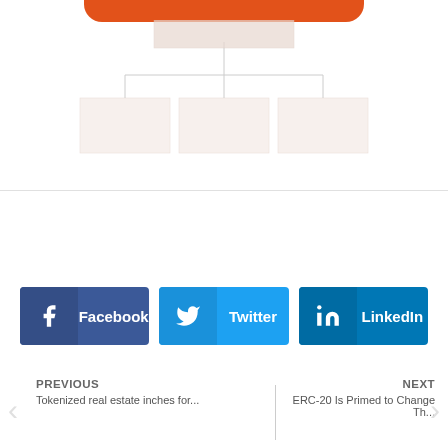[Figure (other): Partial organizational chart with an orange rounded bar at top and faded box hierarchy below]
PREVIOUS
Tokenized real estate inches for...
NEXT
ERC-20 Is Primed to Change Th...
Facebook
Twitter
LinkedIn